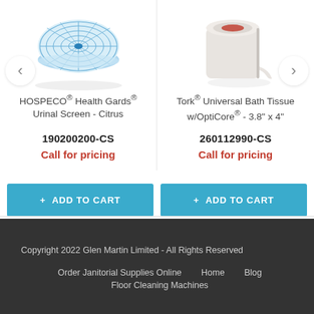[Figure (photo): HOSPECO Health Gards Urinal Screen - Citrus product image (blue/white circular screen)]
HOSPECO® Health Gards® Urinal Screen - Citrus
190200200-CS
Call for pricing
[Figure (photo): Tork Universal Bath Tissue w/OptiCore roll product image]
Tork® Universal Bath Tissue w/OptiCore® - 3.8" x 4"
260112990-CS
Call for pricing
+ ADD TO CART
+ ADD TO CART
Copyright 2022 Glen Martin Limited - All Rights Reserved
Order Janitorial Supplies Online   Home   Blog
Floor Cleaning Machines